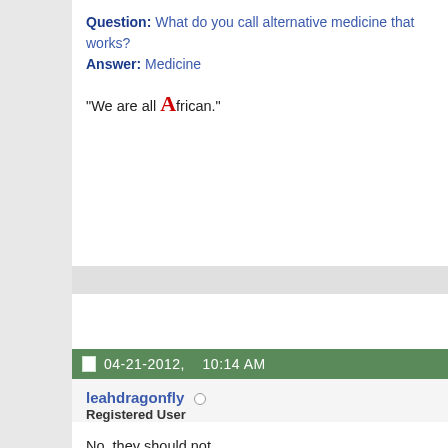Question: What do you call alternative medicine that works?
Answer: Medicine
"We are all African."
04-21-2012, 10:14 AM
leahdragonfly
Registered User
No, they should not.

BTW, how huge are we talking, and where?
Gayle, age 50
Oct 2010 fusion T8-sacrum w/ pelvic fixation
Feb 2012 lumbar revision for broken rods @ L2-3-4
Sept 2015 major lumbar A/P revision for broken rods @ L5-S1

mom of Leah, 15 y/o, Diagnosed '08 with 26* T JIS (age 6)
2010 VBS Dr Luhmann Shriners St Louis
2017 curves stable/skeletely mature